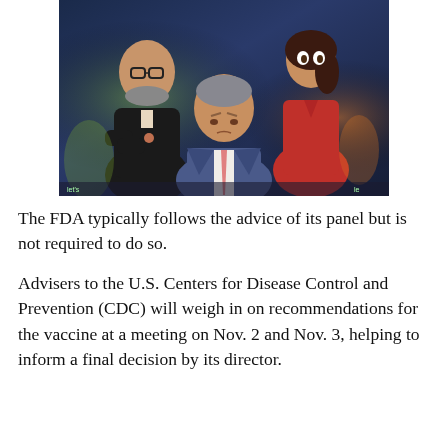[Figure (photo): Three people posing in a studio setting: a bearded man with glasses in a black suit on the left with arms crossed, a woman in a red dress on the upper right, and a man in a blue suit with a pink tie in the foreground center.]
The FDA typically follows the advice of its panel but is not required to do so.
Advisers to the U.S. Centers for Disease Control and Prevention (CDC) will weigh in on recommendations for the vaccine at a meeting on Nov. 2 and Nov. 3, helping to inform a final decision by its director.